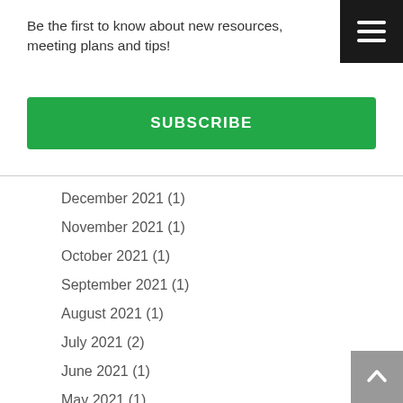Be the first to know about new resources, meeting plans and tips!
SUBSCRIBE
December 2021 (1)
November 2021 (1)
October 2021 (1)
September 2021 (1)
August 2021 (1)
July 2021 (2)
June 2021 (1)
May 2021 (1)
April 2021 (2)